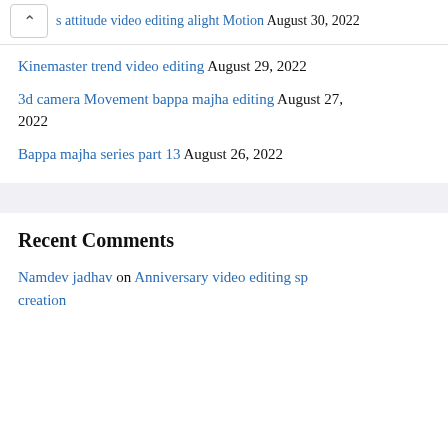s attitude video editing alight Motion August 30, 2022
Kinemaster trend video editing August 29, 2022
3d camera Movement bappa majha editing August 27, 2022
Bappa majha series part 13 August 26, 2022
Recent Comments
Namdev jadhav on Anniversary video editing sp creation